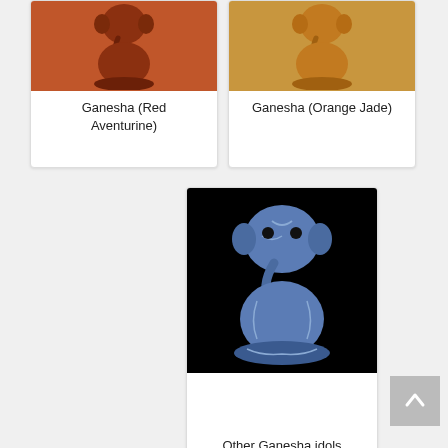[Figure (photo): Ganesha figurine made of Red Aventurine stone, reddish-brown color]
Ganesha (Red Aventurine)
[Figure (photo): Ganesha figurine made of Orange Jade stone, golden-orange color]
Ganesha (Orange Jade)
[Figure (photo): Ganesha figurine made of blue stone (sodalite/lapis), shown against black background]
Other Ganesha idols